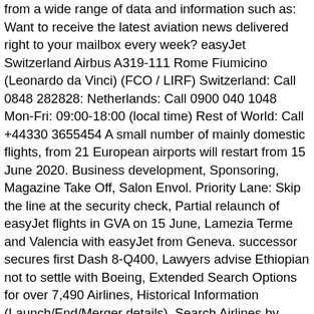from a wide range of data and information such as: Want to receive the latest aviation news delivered right to your mailbox every week? easyJet Switzerland Airbus A319-111 Rome Fiumicino (Leonardo da Vinci) (FCO / LIRF) Switzerland: Call 0848 282828: Netherlands: Call 0900 040 1048 Mon-Fri: 09:00-18:00 (local time) Rest of World: Call +44330 3655454 A small number of mainly domestic flights, from 21 European airports will restart from 15 June 2020. Business development, Sponsoring, Magazine Take Off, Salon Envol. Priority Lane: Skip the line at the security check, Partial relaunch of easyJet flights in GVA on 15 June, Lamezia Terme and Valencia with easyJet from Geneva. successor secures first Dash 8-Q400, Lawyers advise Ethiopian not to settle with Boeing, Extended Search Options for over 7,490 Airlines, Historical Information (Launch/End/Merger details), Search Airlines by Alliance, Airline Type, Status, Search Airlines by Homebase, Country or Routes/Countries served, Search Airlines by Aircraft Type and/or Fleet Size, Legal Name, Address, Phone, LinkedIn page and E-Mail, Average Fleet and Subfleet age and total number of seats, Create your own favorite list to compare airlines, Extended Search Options for